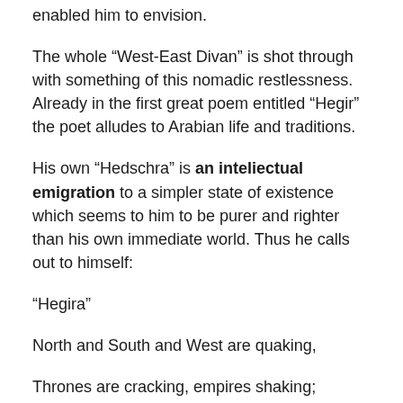enabled him to envision.
The whole “West-East Divan” is shot through with something of this nomadic restlessness. Already in the first great poem entitled “Hegir” the poet alludes to Arabian life and traditions.
His own “Hedschra” is an inteliectual emigration to a simpler state of existence which seems to him to be purer and righter than his own immediate world. Thus he calls out to himself:
“Hegira”
North and South and West are quaking,
Thrones are cracking, empires shaking;